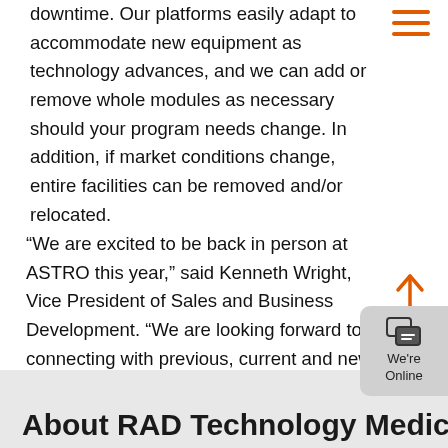[Figure (other): Hamburger menu icon with three orange horizontal lines in top right corner]
downtime. Our platforms easily adapt to accommodate new equipment as technology advances, and we can add or remove whole modules as necessary should your program needs change. In addition, if market conditions change, entire facilities can be removed and/or relocated.
“We are excited to be back in person at ASTRO this year,” said Kenneth Wright, Vice President of Sales and Business Development. “We are looking forward to connecting with previous, current and new customers”.
[Figure (other): Orange upward-pointing arrow scroll-to-top button]
About RAD Technology Medical
[Figure (other): Chat widget button showing speech bubble icon with 'We're Online' text]